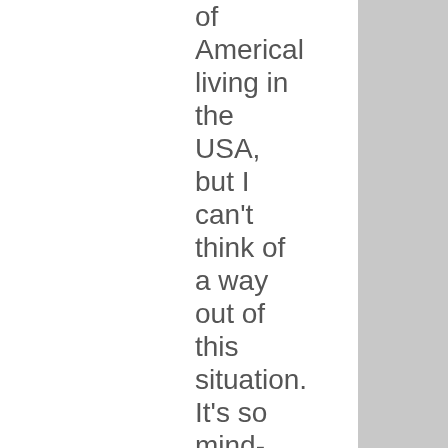of Americans living in the USA, but I can't think of a way out of this situation. It's so mind-boggling and heart-breaking and dangerous. For now, better security of the